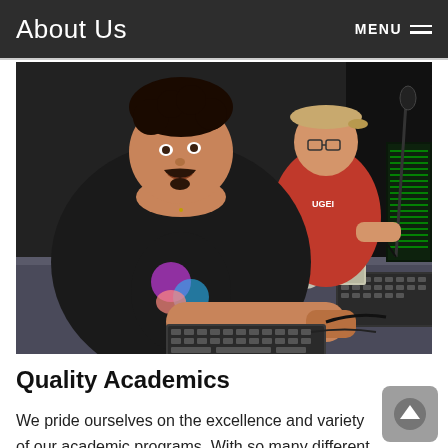About Us
[Figure (photo): Two students working at computers in a dark studio lab. The student in the foreground wears a black graphic t-shirt and a bracelet, typing on a keyboard. Behind him, another student in a red shirt and tan cap works at a second computer. Keyboards, a mouse, and a microphone are visible on the desk.]
Quality Academics
We pride ourselves on the excellence and variety of our academic programs. With so many different paths to choose